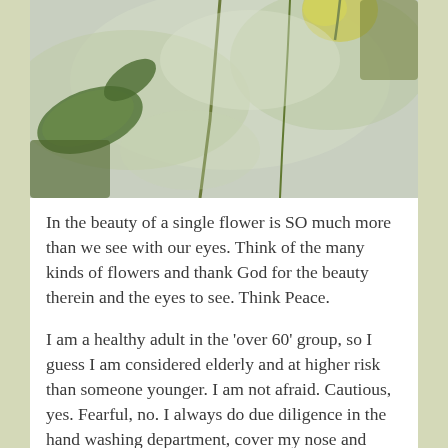[Figure (photo): Close-up photo of green plant stems and leaves with a blurred background, showing soft botanical imagery with green and yellow-green tones.]
In the beauty of a single flower is SO much more than we see with our eyes. Think of the many kinds of flowers and thank God for the beauty therein and the eyes to see. Think Peace.
I am a healthy adult in the 'over 60' group, so I guess I am considered elderly and at higher risk than someone younger. I am not afraid. Cautious, yes. Fearful, no. I always do due diligence in the hand washing department, cover my nose and mouth when coughing or sneezing, and avoid, when possible, those who are sick. Beyond that, since so many events are cancelled, I will be self-isolating.